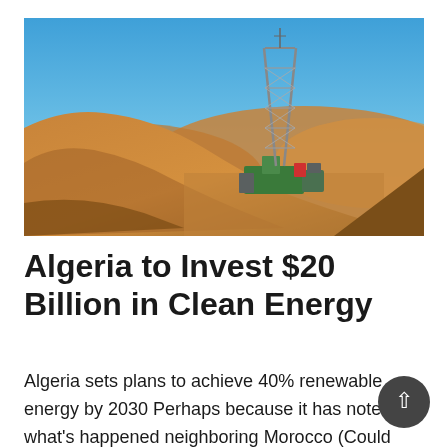[Figure (photo): An oil drilling rig tower standing among large orange sand dunes in an Algerian desert under a clear blue sky.]
Algeria to Invest $20 Billion in Clean Energy
Algeria sets plans to achieve 40% renewable energy by 2030 Perhaps because it has noted what's happened neighboring Morocco (Could Morocco be First to Get